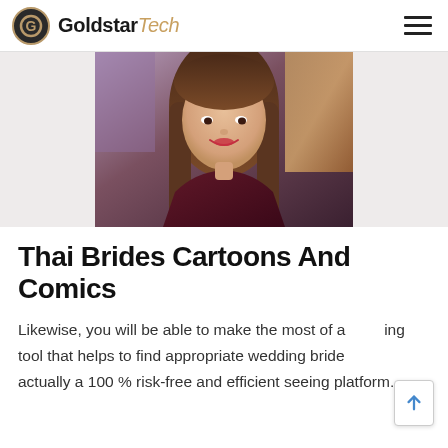GoldstarTech
[Figure (photo): Photo of a young Asian woman with long straight brown hair, smiling, wearing a dark top, colorful background]
Thai Brides Cartoons And Comics
Likewise, you will be able to make the most of a matching tool that helps to find appropriate wedding bride actually a 100 % risk-free and efficient seeing platform.